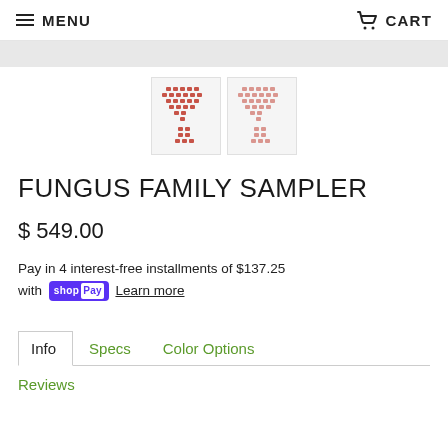MENU   CART
[Figure (photo): Two cross-stitch mushroom/fungus pattern thumbnail images side by side, red detailed patterns on light background]
FUNGUS FAMILY SAMPLER
$ 549.00
Pay in 4 interest-free installments of $137.25 with Shop Pay  Learn more
Info   Specs   Color Options   Reviews